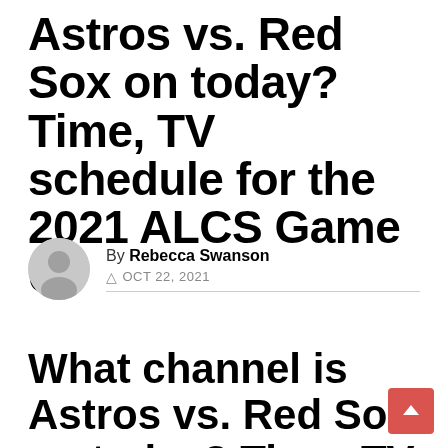Astros vs. Red Sox on today? Time, TV schedule for the 2021 ALCS Game 6
By Rebecca Swanson
© OCT 22, 2021
What channel is Astros vs. Red Sox on today? Time, TV